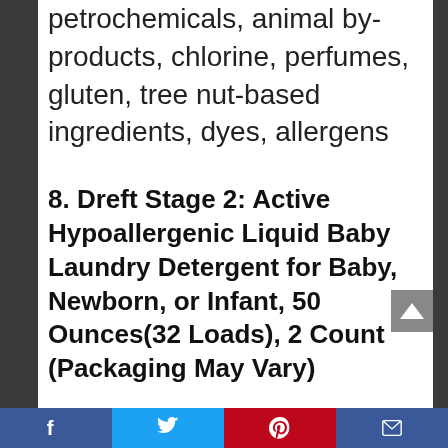petrochemicals, animal by-products, chlorine, perfumes, gluten, tree nut-based ingredients, dyes, allergens
8. Dreft Stage 2: Active Hypoallergenic Liquid Baby Laundry Detergent for Baby, Newborn, or Infant, 50 Ounces(32 Loads), 2 Count (Packaging May Vary)
Facebook | Twitter | Pinterest | Email